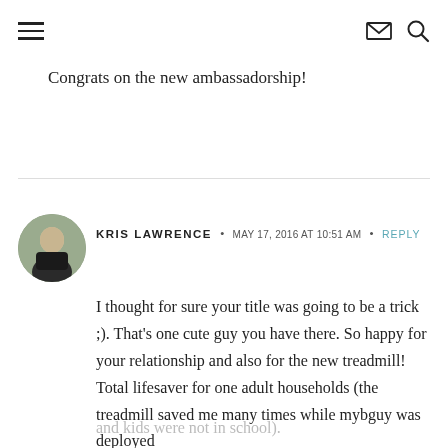Navigation header with hamburger menu, envelope icon, and search icon
Congrats on the new ambassadorship!
KRIS LAWRENCE · MAY 17, 2016 AT 10:51 AM · REPLY
I thought for sure your title was going to be a trick ;). That's one cute guy you have there. So happy for your relationship and also for the new treadmill! Total lifesaver for one adult households (the treadmill saved me many times while mybguy was deployed and kids were not in school).